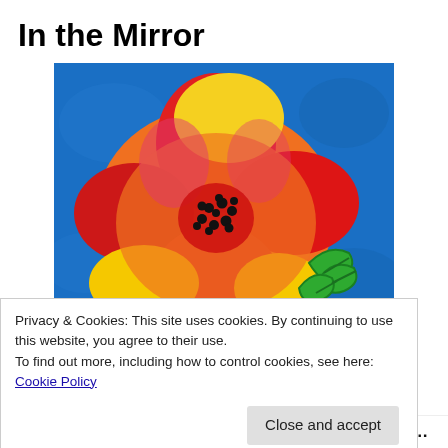In the Mirror
[Figure (illustration): Colorful painting of a poppy flower with orange, red, yellow petals and black center dots on a blue background, with green leaf on the right side.]
Privacy & Cookies: This site uses cookies. By continuing to use this website, you agree to their use.
To find out more, including how to control cookies, see here: Cookie Policy
Close and accept
punishment. Running behind, but not wanting to look a gift